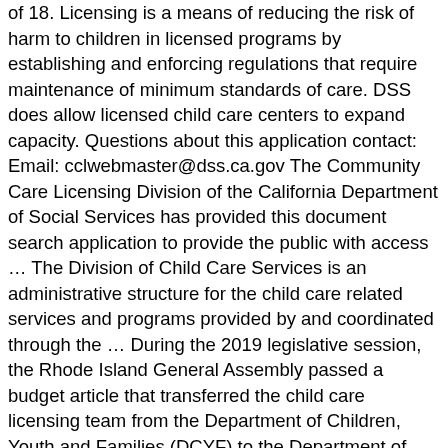of 18. Licensing is a means of reducing the risk of harm to children in licensed programs by establishing and enforcing regulations that require maintenance of minimum standards of care. DSS does allow licensed child care centers to expand capacity. Questions about this application contact: Email: cclwebmaster@dss.ca.gov The Community Care Licensing Division of the California Department of Social Services has provided this document search application to provide the public with access … The Division of Child Care Services is an administrative structure for the child care related services and programs provided by and coordinated through the … During the 2019 legislative session, the Rhode Island General Assembly passed a budget article that transferred the child care licensing team from the Department of Children, Youth and Families (DCYF) to the Department of Human Services (DHS).This was to strengthen and deliver high quality child care services for Rhode Islanders and better support the workforce. The licensing regulations consist of South Dakota Codified Laws (SDCL) and Administrative Rules of South Dakota (ARSD). Community Care Licensing ... To file a complaint regarding a state licensed community care facility or child care facility visit our Complaint Hotline Page for contact information and more. However, depending on the unique and changing situations of each community, local public health officers